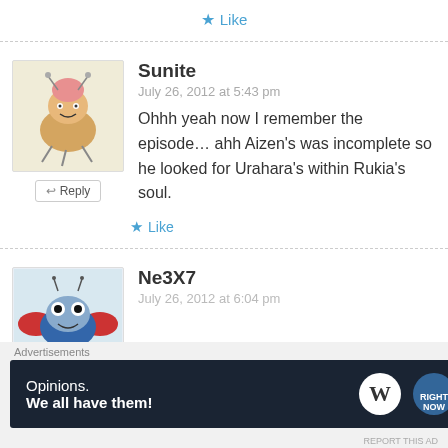★ Like
Sunite
July 26, 2012 at 5:43 pm
Ohhh yeah now I remember the episode... ahh Aizen's was incomplete so he looked for Urahara's within Rukia's soul.
★ Like
Ne3X7
July 26, 2012 at 6:04 pm
Advertisements
Opinions. We all have them!